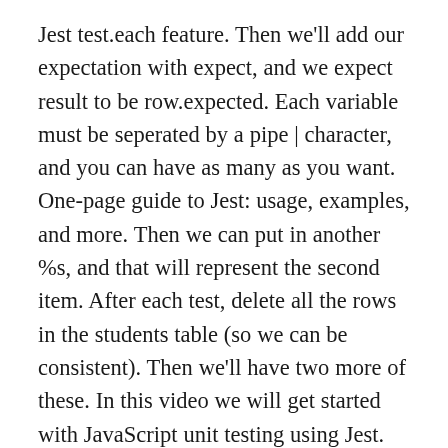Jest test.each feature. Then we'll add our expectation with expect, and we expect result to be row.expected. Each variable must be seperated by a pipe | character, and you can have as many as you want. One-page guide to Jest: usage, examples, and more. Then we can put in another %s, and that will represent the second item. After each test, delete all the rows in the students table (so we can be consistent). Then we'll have two more of these. In this video we will get started with JavaScript unit testing using Jest. The searched value. Those are the values that we need for our test. Test.each is going to take a nested array, so we're going to pass in an